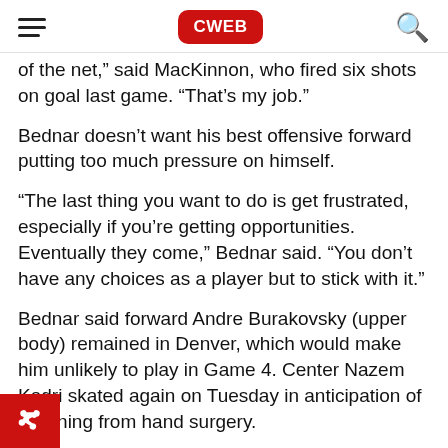CWEB
of the net," said MacKinnon, who fired six shots on goal last game. "That's my job."
Bednar doesn't want his best offensive forward putting too much pressure on himself.
“The last thing you want to do is get frustrated, especially if you’re getting opportunities. Eventually they come,” Bednar said. “You don’t have any choices as a player but to stick with it.”
Bednar said forward Andre Burakovsky (upper body) remained in Denver, which would make him unlikely to play in Game 4. Center Nazem Kadri skated again on Tuesday in anticipation of returning from hand surgery.